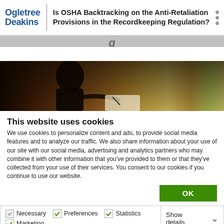Ogletree Deakins | Is OSHA Backtracking on the Anti-Retaliation Provisions in the Recordkeeping Regulation?
[Figure (photo): Person in business attire writing on paper, possibly taking notes or signing a document, warm-toned background]
This website uses cookies
We use cookies to personalize content and ads, to provide social media features and to analyze our traffic. We also share information about your use of our site with our social media, advertising and analytics partners who may combine it with other information that you've provided to them or that they've collected from your use of their services. You consent to our cookies if you continue to use our website.
OK
Necessary  Preferences  Statistics  Marketing  Show details